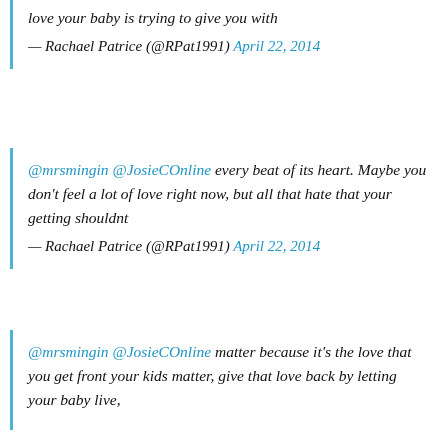love your baby is trying to give you with
— Rachael Patrice (@RPat1991) April 22, 2014
@mrsmingin @JosieCOnline every beat of its heart. Maybe you don't feel a lot of love right now, but all that hate that your getting shouldnt
— Rachael Patrice (@RPat1991) April 22, 2014
@mrsmingin @JosieCOnline matter because it's the love that you get front your kids matter, give that love back by letting your baby live,